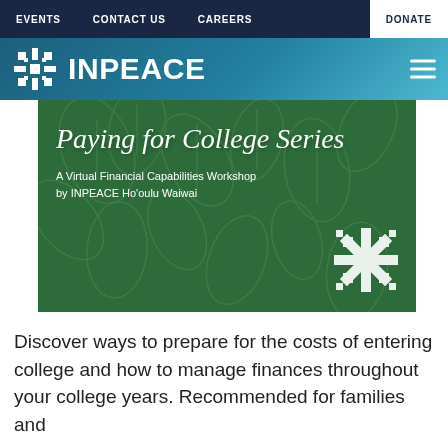EVENTS   CONTACT US   CAREERS   DONATE
[Figure (logo): INPEACE organization logo with snowflake emblem and text INPEACE on teal gradient background]
[Figure (illustration): Banner image with dark green background and leaf pattern overlay. Large cursive text reads 'Paying for College Series'. Below: 'A Virtual Financial Capabilities Workshop by INPEACE Ho'oulu Waiwai'. Decorative snowflake emblem on right side.]
Discover ways to prepare for the costs of entering college and how to manage finances throughout your college years. Recommended for families and